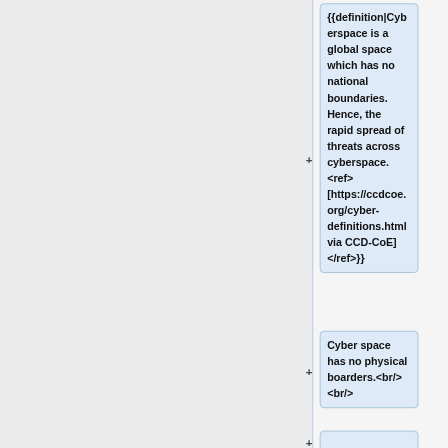{{definition|Cyberspace is a global space which has no national boundaries. Hence, the rapid spread of threats across cyberspace. <ref> [https://ccdcoe.org/cyber-definitions.html via CCD-CoE] </ref>}}
Cyber space has no physical boarders.<br/><br/>